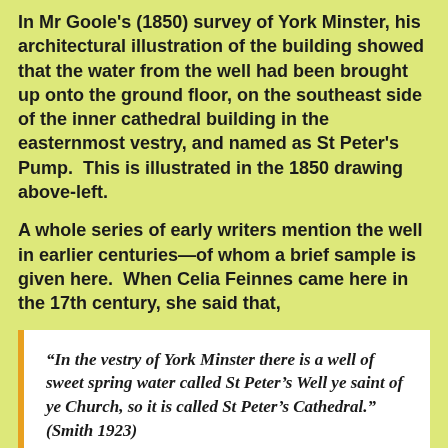In Mr Goole's (1850) survey of York Minster, his architectural illustration of the building showed that the water from the well had been brought up onto the ground floor, on the southeast side of the inner cathedral building in the easternmost vestry, and named as St Peter's Pump. This is illustrated in the 1850 drawing above-left.
A whole series of early writers mention the well in earlier centuries—of whom a brief sample is given here. When Celia Feinnes came here in the 17th century, she said that,
“In the vestry of York Minster there is a well of sweet spring water called St Peter’s Well ye saint of ye Church, so it is called St Peter’s Cathedral.” (Smith 1923)